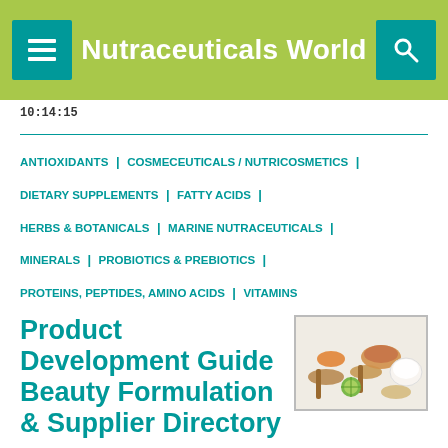Nutraceuticals World
10:14:15
ANTIOXIDANTS | COSMECEUTICALS / NUTRICOSMETICS | DIETARY SUPPLEMENTS | FATTY ACIDS | HERBS & BOTANICALS | MARINE NUTRACEUTICALS | MINERALS | PROBIOTICS & PREBIOTICS | PROTEINS, PEPTIDES, AMINO ACIDS | VITAMINS
[Figure (photo): Bowls and spoons with various cosmetic/beauty ingredients including powders and sliced citrus]
Product Development Guide Beauty Formulation & Supplier Directory